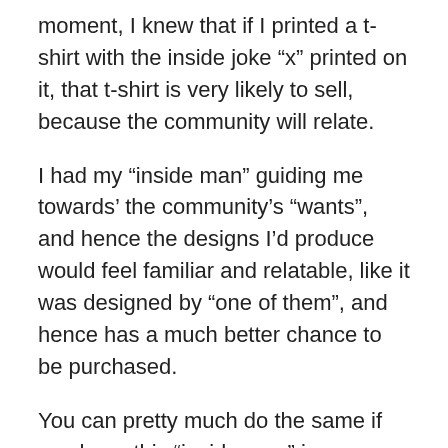moment, I knew that if I printed a t-shirt with the inside joke “x” printed on it, that t-shirt is very likely to sell, because the community will relate.
I had my “inside man” guiding me towards’ the community’s “wants”, and hence the designs I’d produce would feel familiar and relatable, like it was designed by “one of them”, and hence has a much better chance to be purchased.
You can pretty much do the same if you have this “inside man” in any community or you’re part of a community/industry yourself. It could be sports, hobbies, an occupation…etc.